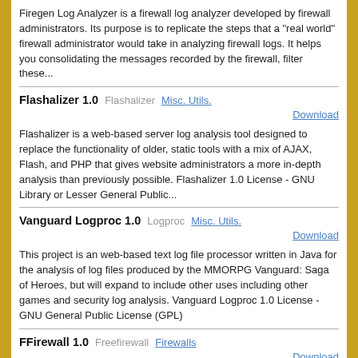Firegen Log Analyzer is a firewall log analyzer developed by firewall administrators. Its purpose is to replicate the steps that a "real world" firewall administrator would take in analyzing firewall logs. It helps you consolidating the messages recorded by the firewall, filter these...
Flashalizer 1.0   Flashalizer   Misc. Utils.
Download
Flashalizer is a web-based server log analysis tool designed to replace the functionality of older, static tools with a mix of AJAX, Flash, and PHP that gives website administrators a more in-depth analysis than previously possible. Flashalizer 1.0 License - GNU Library or Lesser General Public...
Vanguard Logproc 1.0   Logproc   Misc. Utils.
Download
This project is an web-based text log file processor written in Java for the analysis of log files produced by the MMORPG Vanguard: Saga of Heroes, but will expand to include other uses including other games and security log analysis. Vanguard Logproc 1.0 License - GNU General Public License (GPL)
FFirewall 1.0   Freefirewall   Firewalls
Download
An advanced web-based firewall configuration utility. FFirewall 1.0 License - GNU General Public License (GPL)
Nihuo Web Log Analyzer 2   Nihuo Software